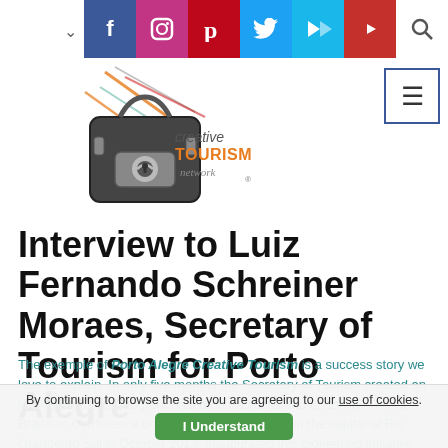[Figure (logo): Creative Tourism Network logo with illustrated travel bag and abstract lines]
Interview to Luiz Fernando Schreiner Moraes, Secretary of Tourism for Porto Alegre
The exemple of Porto Alegre Creative Tourism is a success story we love to explain. In only five months the Secretary of Tourism created an innovative tourist program based on traditions and creativity. The Ist. Brazilian Conference on Creative Tourism, held in the capital of Rio Grande do Sul in October 2013, inaugurated this pioneering initiative and
By continuing to browse the site you are agreeing to our use of cookies. I Understand